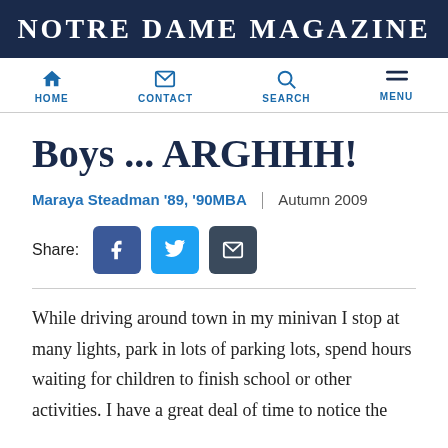Notre Dame Magazine
[Figure (screenshot): Navigation bar with HOME, CONTACT, SEARCH, MENU icons]
Boys ... ARGHHH!
Maraya Steadman '89, '90MBA  |  Autumn 2009
[Figure (infographic): Share buttons: Facebook, Twitter, Email]
While driving around town in my minivan I stop at many lights, park in lots of parking lots, spend hours waiting for children to finish school or other activities. I have a great deal of time to notice the